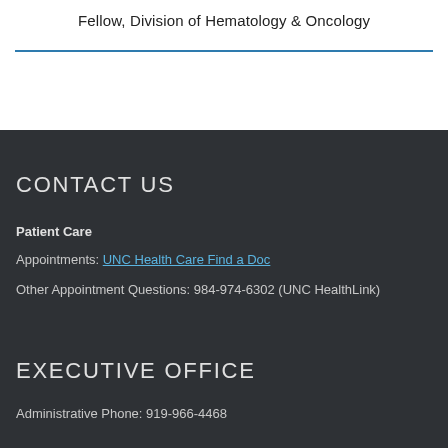Fellow, Division of Hematology & Oncology
CONTACT US
Patient Care
Appointments: UNC Health Care Find a Doc
Other Appointment Questions: 984-974-6302 (UNC HealthLink)
EXECUTIVE OFFICE
Administrative Phone: 919-966-4468